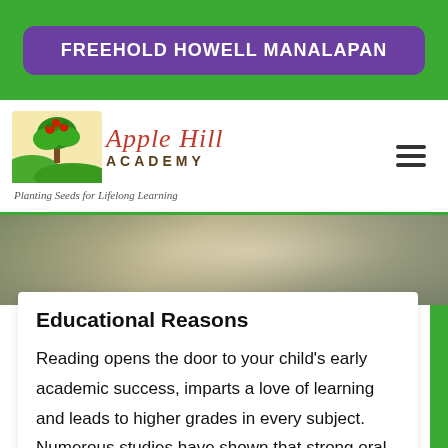FREEHOLD HOWELL MANALAPAN
[Figure (logo): Apple Hill Academy logo with apple tree graphic, red script text 'Apple Hill', bold 'ACADEMY' subtitle, italic tagline 'Planting Seeds for Lifelong Learning']
[Figure (photo): Blurred background photo, appears to be a classroom or outdoor scene with muted olive/tan tones]
Educational Reasons
Reading opens the door to your child's early academic success, imparts a love of learning and leads to higher grades in every subject. Numerous studies have shown that strong oral language skills are the basis for literacy development. When children learn to